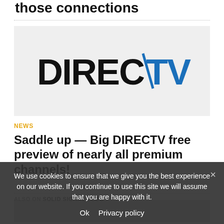those connections
[Figure (logo): DIRECTV logo on light gray background, black and blue lettering]
NEWS
Saddle up — Big DIRECTV free preview of nearly all premium channels!
ALSO ON SOLID SIGNAL BLOG
We use cookies to ensure that we give you the best experience on our website. If you continue to use this site we will assume that you are happy with it.
Ok   Privacy policy